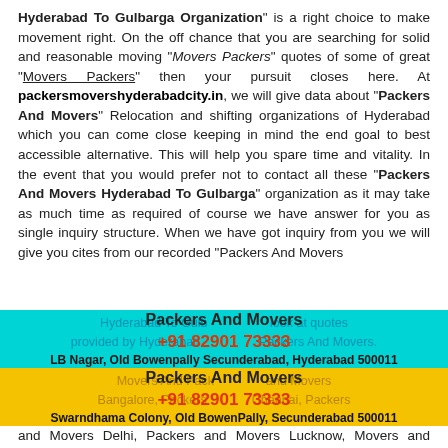"Hyderabad To Gulbarga Organization" is a right choice to make movement right. On the off chance that you are searching for solid and reasonable moving "Movers Packers" quotes of some of great "Movers Packers" then your pursuit closes here. At packersmovershyderabadcity.in, we will give data about "Packers And Movers" Relocation and shifting organizations of Hyderabad which you can come close keeping in mind the end goal to best accessible alternative. This will help you spare time and vitality. In the event that you would prefer not to contact all these "Packers And Movers Hyderabad To Gulbarga" organization as it may take as much time as required of course we have answer for you as single inquiry structure. When we have got inquiry from you we will give you cites from our recorded "Packers And Movers Hyderabad To Gulbarga" look at quotes provided by Hyderabad Packers And Movers.
[Figure (infographic): Cyan banner with Packers And Movers heading, phone number +91 82901 73333, and address LB Nagar, Old Bowenpally Secunderabad, Hyderabad 500011]
[Figure (infographic): Yellow banner with Packers And Movers heading, phone number +91 82901 73333, and address Swarndhama Colony, Old BowenPally, Secunderabad 500011]
Movers And Packers Bangalore, Packers And Movers Chennai, Packers and Movers Delhi, Packers and Movers Lucknow, Movers and Packers Pune, Packers and Movers Bangalore, Packers and Movers Ahmedabad, Packers